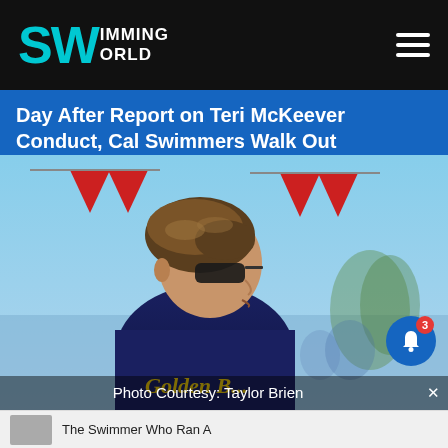Swimming World
Day After Report on Teri McKeever Conduct, Cal Swimmers Walk Out
[Figure (photo): A woman wearing a navy blue Golden Bears shirt and sunglasses, viewed in profile, at an outdoor swimming event with red triangular banners in the background.]
Photo Courtesy: Taylor Brien
The Swimmer Who Ran A